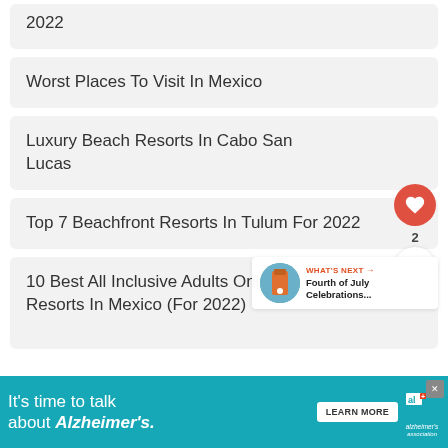2022
Worst Places To Visit In Mexico
Luxury Beach Resorts In Cabo San Lucas
Top 7 Beachfront Resorts In Tulum For 2022
10 Best All Inclusive Adults Only Resorts In Mexico (For 2022)
[Figure (infographic): Advertisement banner: 'It's time to talk about Alzheimer's.' with a Learn More button and Alzheimer's Association logo]